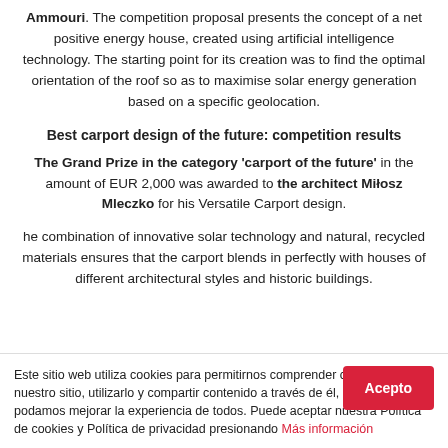Ammouri. The competition proposal presents the concept of a net positive energy house, created using artificial intelligence technology. The starting point for its creation was to find the optimal orientation of the roof so as to maximise solar energy generation based on a specific geolocation.
Best carport design of the future: competition results
The Grand Prize in the category 'carport of the future' in the amount of EUR 2,000 was awarded to the architect Miłosz Mleczko for his Versatile Carport design.
he combination of innovative solar technology and natural, recycled materials ensures that the carport blends in perfectly with houses of different architectural styles and historic buildings.
Este sitio web utiliza cookies para permitirnos comprender cómo accede a nuestro sitio, utilizarlo y compartir contenido a través de él, para que podamos mejorar la experiencia de todos. Puede aceptar nuestra Política de cookies y Política de privacidad presionando Más información